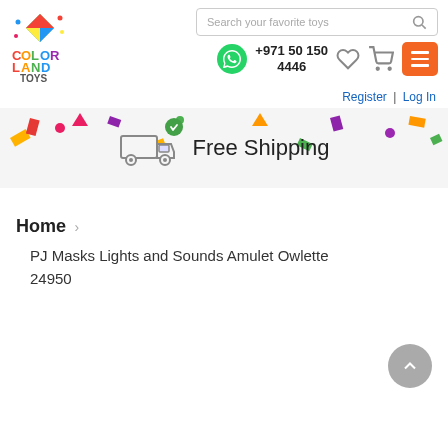[Figure (logo): Color Land Toys logo with colorful kite and letters]
Search your favorite toys
+971 50 150 4446
Register | Log In
Free Shipping
Home
PJ Masks Lights and Sounds Amulet Owlette 24950